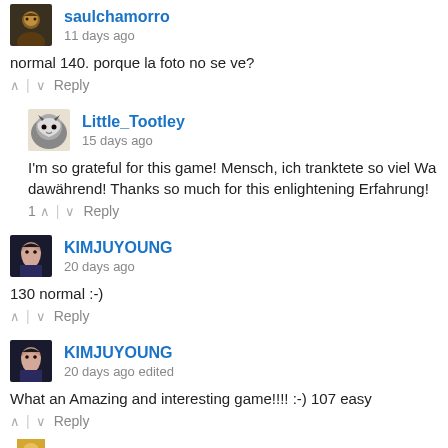[Figure (screenshot): User comment section with avatars, usernames, timestamps, comment text, and voting/reply controls]
saulchamorro
11 days ago
normal 140. porque la foto no se ve?
^ | v  Reply
Little_Tootley
15 days ago
I'm so grateful for this game! Mensch, ich tranktete so viel Wa... dawährend! Thanks so much for this enlightening Erfahrung!
1 ^ | v  Reply
KIMJUYOUNG
20 days ago
130 normal :-)
^ | v  Reply
KIMJUYOUNG
20 days ago edited
What an Amazing and interesting game!!!! :-) 107 easy
^ | v  Reply